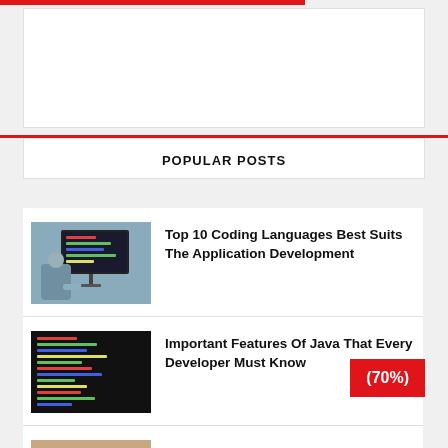POPULAR POSTS
[Figure (photo): Person typing on keyboard with computer monitor showing code]
Top 10 Coding Languages Best Suits The Application Development
[Figure (photo): Dark screen with colorful code editor open]
Important Features Of Java That Every Developer Must Know
[Figure (photo): Laptop on wooden desk with WordPress website design]
Why WordPress Website Design Is Best Choice for You?